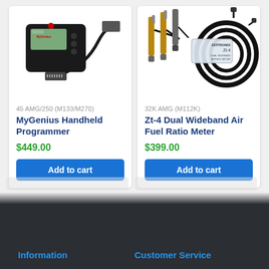[Figure (photo): MyGenius Handheld Programmer device — a black handheld OBD tuning tool with LCD screen, buttons, and DB25 connector cable]
45 AMG/250 (M133/M270)
MyGenius Handheld Programmer
$449.00
Add to cart
[Figure (photo): Zt-4 Dual Wideband Air Fuel Ratio Meter kit — includes two oxygen sensors, wiring harness coil, and a Zeitronix Zt-4 controller box]
32K AMG (M112K)
Zt-4 Dual Wideband Air Fuel Ratio Meter
$399.00
Add to cart
Information    Customer Service